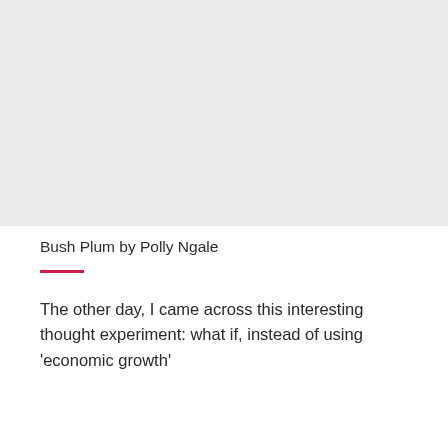[Figure (photo): Large grey placeholder image occupying the top portion of the page]
Bush Plum by Polly Ngale
The other day, I came across this interesting thought experiment: what if, instead of using 'economic growth' as a measure of progress and the quality of